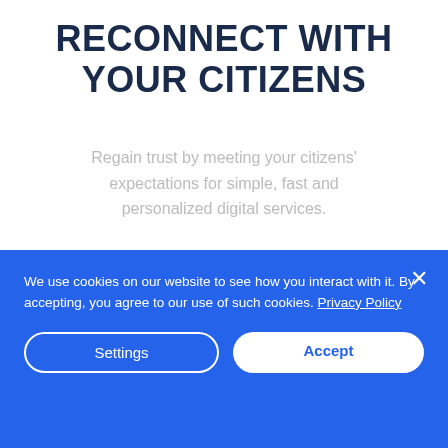RECONNECT WITH YOUR CITIZENS
Regain trust by meeting your citizens' expectations for simple, fast and personalized digital services.
[Figure (illustration): City illustration showing buildings, a capitol dome, and construction vehicles (dump truck and tractor) in a flat vector style with blue tones.]
[Figure (illustration): Blue circular arrows icon with an upward arrow, representing refresh or reconnect concept.]
We use cookies on our website to see how you interact with it. By accepting, you agree to our use of such cookies. Privacy Policy
Settings
Accept